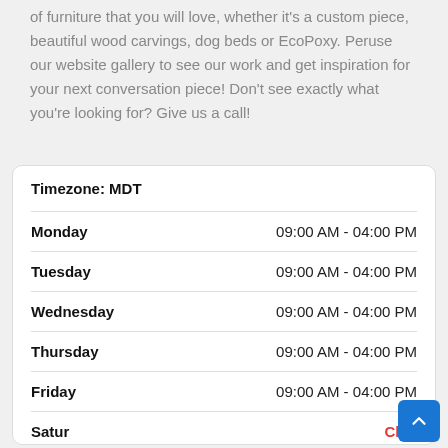of furniture that you will love, whether it's a custom piece, beautiful wood carvings, dog beds or EcoPoxy. Peruse our website gallery to see our work and get inspiration for your next conversation piece! Don't see exactly what you're looking for? Give us a call!
| Day | Hours |
| --- | --- |
| Monday | 09:00 AM - 04:00 PM |
| Tuesday | 09:00 AM - 04:00 PM |
| Wednesday | 09:00 AM - 04:00 PM |
| Thursday | 09:00 AM - 04:00 PM |
| Friday | 09:00 AM - 04:00 PM |
| Saturday | Closed |